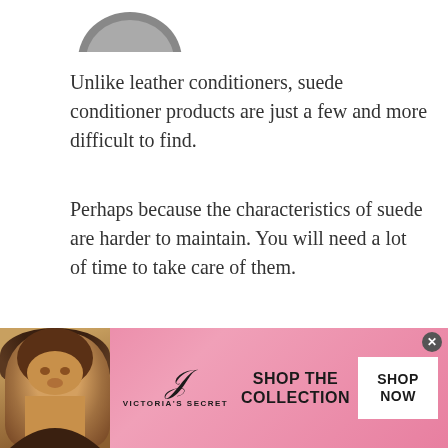[Figure (photo): Partial view of product images at the top of the page, partially cropped]
Unlike leather conditioners, suede conditioner products are just a few and more difficult to find.
Perhaps because the characteristics of suede are harder to maintain. You will need a lot of time to take care of them.
Suede gets dirty and absorbs water easily. If you don’t take care of your boots properly, they can be dry and hard, then deteriorate quickly and lose their flexibility.
[Figure (photo): Victoria's Secret advertisement banner with model, VS logo, SHOP THE COLLECTION text, and SHOP NOW button on pink gradient background]